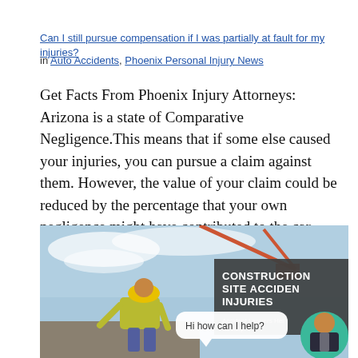Can I still pursue compensation if I was partially at fault for my injuries?
in Auto Accidents, Phoenix Personal Injury News
Get Facts From Phoenix Injury Attorneys: Arizona is a state of Comparative Negligence.This means that if some else caused your injuries, you can pursue a claim against them. However, the value of your claim could be reduced by the percentage that your own negligence might have contributed to the car accident and/or your injuries or…
[Figure (photo): Construction site image showing a worker in a yellow hard hat and safety vest bending over at a construction site with a crane in the background. Overlaid on the right side is a dark grey banner reading 'CONSTRUCTION SITE ACCIDENT INJURIES' in bold white text, with smaller text below reading 'Accident Lawyers Help Recoup'. A chat bubble in the foreground reads 'Hi how can I help?' and a cartoon avatar of a person in business attire is shown.]